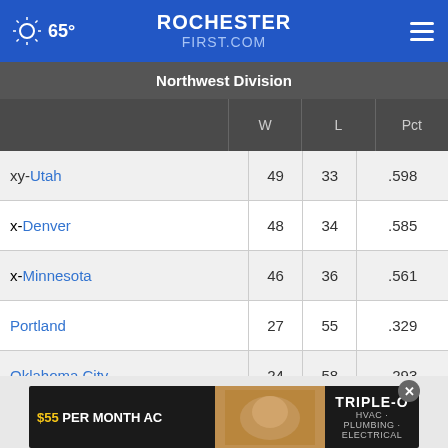65° ROCHESTERFIRST.COM
|  | W | L | Pct |
| --- | --- | --- | --- |
| Northwest Division |  |  |  |
| xy-Utah | 49 | 33 | .598 |
| x-Denver | 48 | 34 | .585 |
| x-Minnesota | 46 | 36 | .561 |
| Portland | 27 | 55 | .329 |
| Oklahoma City | 24 | 58 | .293 |
| Pacific Division |  |  |  |
| xyz-Ph... |  |  |  |
[Figure (screenshot): Advertisement banner: $55 PER MONTH AC, Triple-O HVAC Plumbing Electrical]